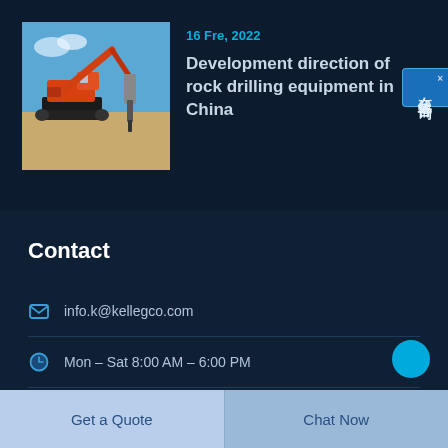16 Fre, 2022
Development direction of rock drilling equipment in China
[Figure (photo): Orange rock drilling excavator machine on a construction site against blue sky]
Contact
info.k@kellegco.com
Mon – Sat 8:00 AM – 6:00 PM
No. 29 Jiatai Road, China (Shanghai) Pilot Free